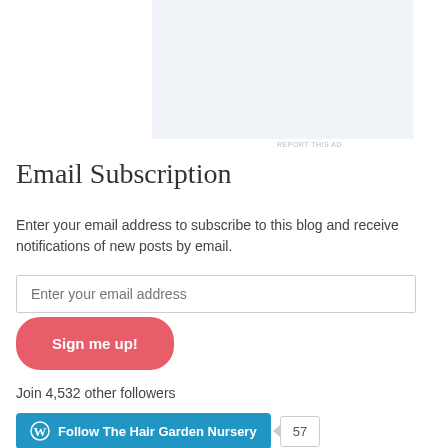[Figure (other): Light blue-gray advertisement placeholder box]
REPORT THIS AD
Email Subscription
Enter your email address to subscribe to this blog and receive notifications of new posts by email.
Enter your email address
Sign me up!
Join 4,532 other followers
Follow The Hair Garden Nursery 57